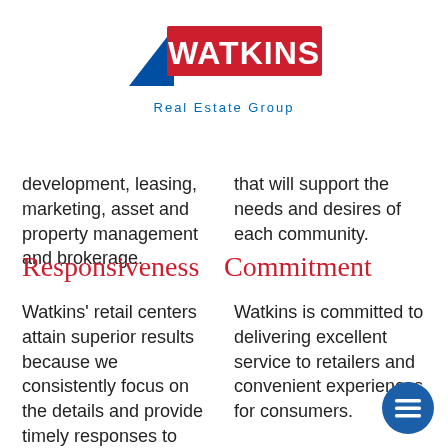[Figure (logo): Watkins Real Estate Group logo with blue triangle and red WATKINS text, subtitle 'Real Estate Group' in blue]
development, leasing, marketing, asset and property management and brokerage.
that will support the needs and desires of each community.
ResponsivenessCommitment
Watkins' retail centers attain superior results because we consistently focus on the details and provide timely responses to merchants.
Watkins is committed to delivering excellent service to retailers and convenient experiences for consumers.